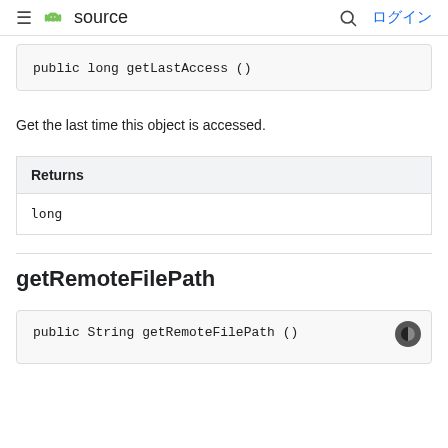≡ 🤖 source  🔍 ログイン
public long getLastAccess ()
Get the last time this object is accessed.
| Returns |
| --- |
| long |
getRemoteFilePath
public String getRemoteFilePath ()